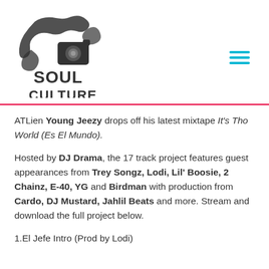[Figure (logo): Soul Culture logo with stylized human figure and camera icon above text SOUL CULTURE in bold black]
ATLien Young Jeezy drops off his latest mixtape It's Tho World (Es El Mundo).
Hosted by DJ Drama, the 17 track project features guest appearances from Trey Songz, Lodi, Lil' Boosie, 2 Chainz, E-40, YG and Birdman with production from Cardo, DJ Mustard, Jahlil Beats and more. Stream and download the full project below.
1.El Jefe Intro (Prod by Lodi)